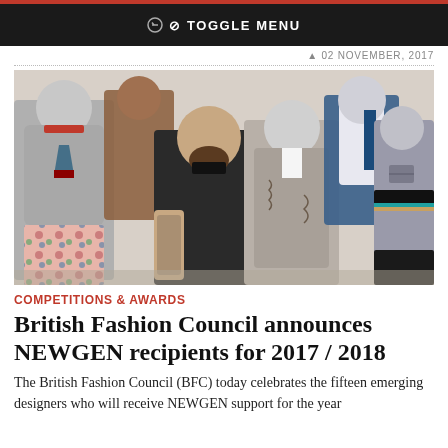TOGGLE MENU
02 NOVEMBER, 2017
[Figure (photo): A bearded man in a black polo shirt stands among several mannequins wearing various fashion designs including a grey sweatshirt with a graphic, colourful printed trousers, a grey suit jacket with decorative stitching, a blue and white jacket, and a grey racing-style jacket.]
COMPETITIONS & AWARDS
British Fashion Council announces NEWGEN recipients for 2017 / 2018
The British Fashion Council (BFC) today celebrates the fifteen emerging designers who will receive NEWGEN support for the year